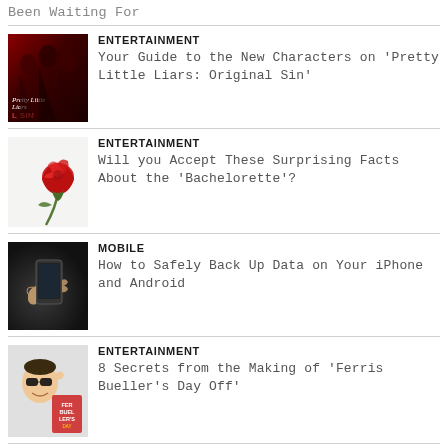Been Waiting For
ENTERTAINMENT
Your Guide to the New Characters on ‘Pretty Little Liars: Original Sin’
ENTERTAINMENT
Will you Accept These Surprising Facts About the ‘Bachelorette’?
MOBILE
How to Safely Back Up Data on Your iPhone and Android
ENTERTAINMENT
8 Secrets from the Making of ‘Ferris Bueller’s Day Off’